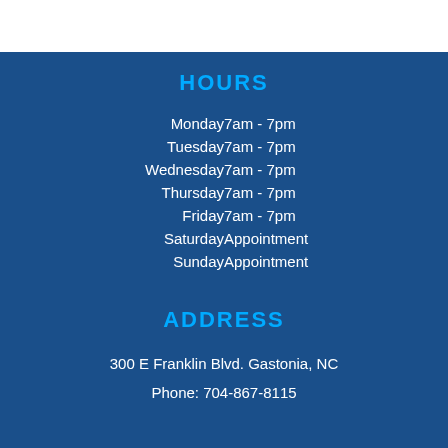HOURS
| Day | Hours |
| --- | --- |
| Monday | 7am - 7pm |
| Tuesday | 7am - 7pm |
| Wednesday | 7am - 7pm |
| Thursday | 7am - 7pm |
| Friday | 7am - 7pm |
| Saturday | Appointment |
| Sunday | Appointment |
ADDRESS
300 E Franklin Blvd. Gastonia, NC
Phone: 704-867-8115